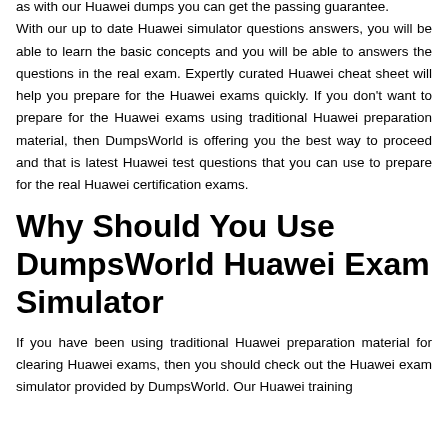as with our Huawei dumps you can get the passing guarantee. With our up to date Huawei simulator questions answers, you will be able to learn the basic concepts and you will be able to answers the questions in the real exam. Expertly curated Huawei cheat sheet will help you prepare for the Huawei exams quickly. If you don't want to prepare for the Huawei exams using traditional Huawei preparation material, then DumpsWorld is offering you the best way to proceed and that is latest Huawei test questions that you can use to prepare for the real Huawei certification exams.
Why Should You Use DumpsWorld Huawei Exam Simulator
If you have been using traditional Huawei preparation material for clearing Huawei exams, then you should check out the Huawei exam simulator provided by DumpsWorld. Our Huawei training